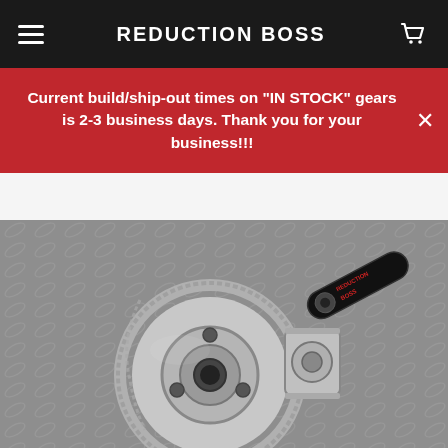REDUCTION BOSS
Current build/ship-out times on "IN STOCK" gears is 2-3 business days. Thank you for your business!!!
[Figure (photo): Photo of a metal gear reduction assembly with a large ring gear, central hub with spider gears, and a pinion gear, placed on a diamond-plate metal surface. A Reduction Boss logo/sticker is visible in the upper right of the image.]